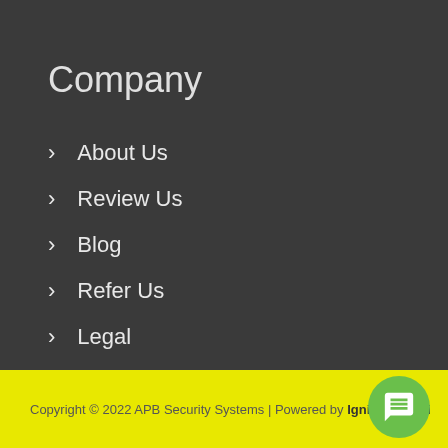Company
About Us
Review Us
Blog
Refer Us
Legal
Copyright © 2022 APB Security Systems | Powered by Ignite Marketing